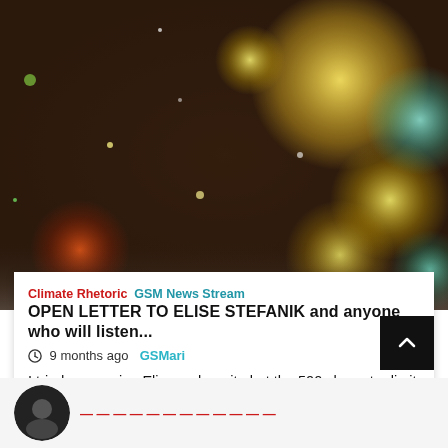[Figure (photo): Bokeh background with warm golden, orange, and teal light orbs on dark background]
Climate Rhetoric  GSM News Stream
OPEN LETTER TO ELISE STEFANIK and anyone who will listen...
9 months ago  GSMari
I tried messaging Elise on her site but the 500 character limit simply is not enough to express my dire message.  So ple listen and...
[Figure (photo): Small circular thumbnail photo at bottom left, partially visible]